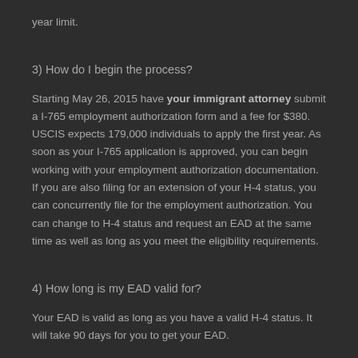year limit.
3) How do I begin the process?
Starting May 26, 2015 have your immigrant attorney submit a I-765 employment authorization form and a fee for $380. USCIS expects 179,000 individuals to apply the first year. As soon as your I-765 application is approved, you can begin working with your employment authorization documentation. If you are also filing for an extension of your H-4 status, you can concurrently file for the employment authorization. You can change to H-4 status and request an EAD at the same time as well as long as you meet the eligibility requirements.
4) How long is my EAD valid for?
Your EAD is valid as long as you have a valid H-4 status. It will take 90 days for you to get your EAD.